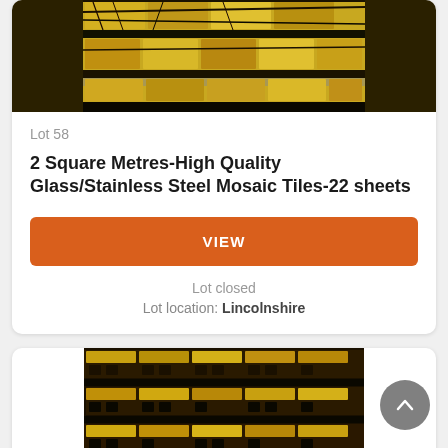[Figure (photo): Close-up photo of gold and black patterned glass/stainless steel mosaic tiles arranged in strips, partially visible at top of card]
Lot 58
2 Square Metres-High Quality Glass/Stainless Steel Mosaic Tiles-22 sheets
VIEW
Lot closed
Lot location: Lincolnshire
[Figure (photo): Close-up photo of gold, black and dark brown glass/stainless steel mosaic tiles arranged in horizontal strips, partially visible at bottom of page]